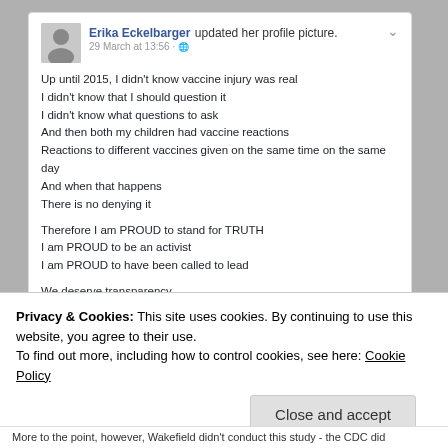[Figure (screenshot): Facebook post screenshot from Erika Eckelbarger, dated 29 March at 13:56, with a profile photo avatar. Post text about vaccine injury, transparency, and CDC accountability.]
Up until 2015, I didn't know vaccine injury was real
I didn't know that I should question it
I didn't know what questions to ask
And then both my children had vaccine reactions
Reactions to different vaccines given on the same time on the same day
And when that happens
There is no denying it
Therefore I am PROUD to stand for TRUTH
I am PROUD to be an activist
I am PROUD to have been called to lead
We deserve transparency
We deserve justice
We deserve a choice
And our CHILDREN deserve truth
The CDC must be held accountable for their FRAUD and DECEPTION and
Privacy & Cookies: This site uses cookies. By continuing to use this website, you agree to their use.
To find out more, including how to control cookies, see here: Cookie Policy
Close and accept
More to the point, however, Wakefield didn't conduct this study - the CDC did